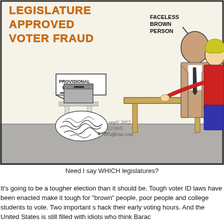[Figure (illustration): Political cartoon showing a polling station scene. On the left, a ballot box on a stand with a trash can overflowing with crumpled ballots underneath, labeled 'PROVISIONAL BALLOTS'. On the right, two poll workers (a woman in red and another person) sit behind a table. A faceless tan figure (labeled 'FACELESS BROWN PERSON' with an arrow) stands at the table. Top left text reads 'LEGISLATURE APPROVED VOTER FRAUD' in orange bubble letters. Artist signature: reg© 2012 12/10/5 ivcaffeine.com]
Need I say WHICH legislatures?
It's going to be a tougher election than it should be. Tough voter ID laws have been enacted make it tough for "brown" people, poor people and college students to vote. Two important s hack their early voting hours. And the United States is still filled with idiots who think Barac